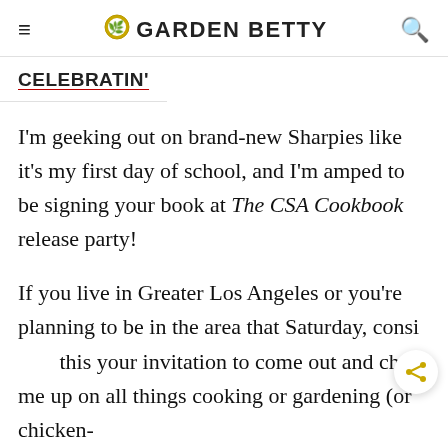≡  🌱 GARDEN BETTY  🔍
CELEBRATIN'
I'm geeking out on brand-new Sharpies like it's my first day of school, and I'm amped to be signing your book at The CSA Cookbook release party!
If you live in Greater Los Angeles or you're planning to be in the area that Saturday, consider this your invitation to come out and chat me up on all things cooking or gardening (or chicken-